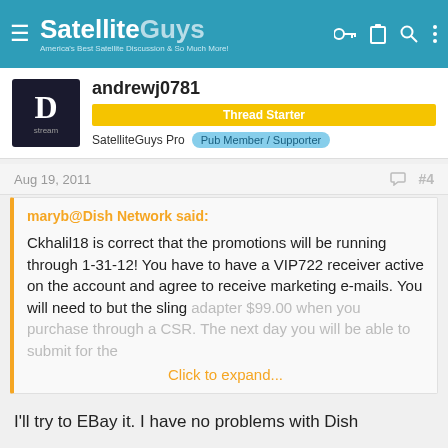SatelliteGuys — America's Best Satellite Discussion & So Much More!
andrewj0781
Thread Starter
SatelliteGuys Pro  Pub Member / Supporter
Aug 19, 2011   #4
maryb@Dish Network said:

Ckhalil18 is correct that the promotions will be running through 1-31-12! You have to have a VIP722 receiver active on the account and agree to receive marketing e-mails. You will need to but the sling adapter $99.00 when you purchase through a CSR. The next day you will be able to submit for the
Click to expand...
I'll try to EBay it. I have no problems with Dish